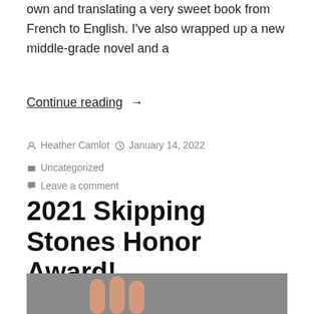own and translating a very sweet book from French to English. I've also wrapped up a new middle-grade novel and a
Continue reading  →
By Heather Camlot  January 14, 2022  Uncategorized  Leave a comment
2021 Skipping Stones Honor Award!
[Figure (photo): A hand with fingers raised against a grey background, partially visible at the bottom of the page.]